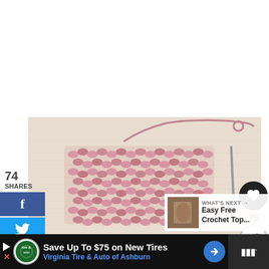[Figure (photo): Pink crocheted wristlet clutch bag on linen background with a crochet hook and wrist strap]
74
SHARES
[Figure (infographic): Social share buttons: Facebook (blue), Twitter (blue), Pinterest (red)]
[Figure (infographic): Interaction panel with heart button showing 75 likes and share button]
[Figure (screenshot): What's Next thumbnail: Easy Free Crochet Top...]
[Figure (infographic): Ad banner: Save Up To $75 on New Tires - Virginia Tire & Auto of Ashburn]